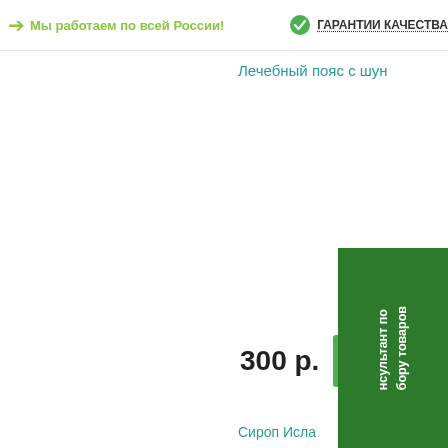→ Мы работаем по всей России!   ✓ ГАРАНТИИ КАЧЕСТВА
Лечебный пояс с шун…
300 р.
в кор…
[Figure (photo): Bottle of Syrop Isla product with orange liquid, partially obscured by green popup overlay]
Сироп Исла…
нсультант по
бору товаров